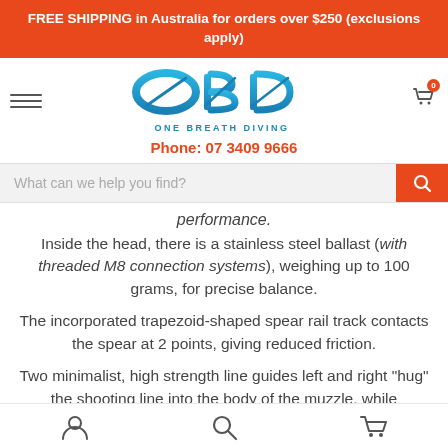FREE SHIPPING in Australia for orders over $250 (exclusions apply)
[Figure (logo): OBD One Breath Diving logo with blue stylized text and tagline]
Phone: 07 3409 9666
What can we help you find?
performance.
Inside the head, there is a stainless steel ballast (with threaded M8 connection systems), weighing up to 100 grams, for precise balance.
The incorporated trapezoid-shaped spear rail track contacts the spear at 2 points, giving reduced friction.
Two minimalist, high strength line guides left and right "hug" the shooting line into the body of the muzzle, while
User / Search / Cart icons navigation bar